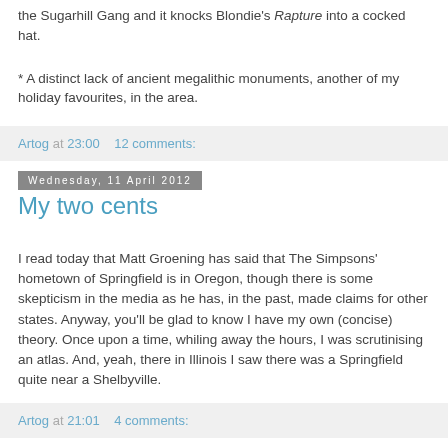the Sugarhill Gang and it knocks Blondie's Rapture into a cocked hat.
* A distinct lack of ancient megalithic monuments, another of my holiday favourites, in the area.
Artog at 23:00    12 comments:
Wednesday, 11 April 2012
My two cents
I read today that Matt Groening has said that The Simpsons' hometown of Springfield is in Oregon, though there is some skepticism in the media as he has, in the past, made claims for other states. Anyway, you'll be glad to know I have my own (concise) theory. Once upon a time, whiling away the hours, I was scrutinising an atlas. And, yeah, there in Illinois I saw there was a Springfield quite near a Shelbyville.
Artog at 21:01    4 comments: